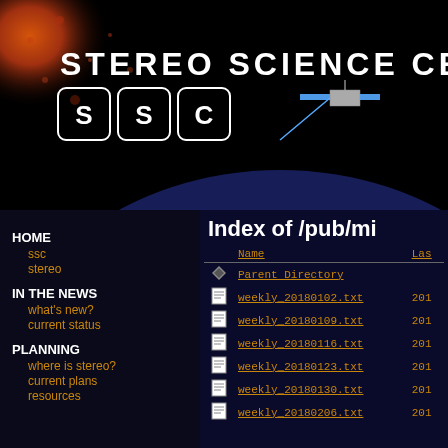[Figure (illustration): STEREO Science Center banner with SSC logo, two satellites, sun and Earth in space background]
Index of /pub/mi
HOME
ssc
stereo
IN THE NEWS
what's new?
current status
PLANNING
where is stereo?
current plans
resources
| Name | Las |
| --- | --- |
| Parent Directory |  |
| weekly_20180102.txt | 201 |
| weekly_20180109.txt | 201 |
| weekly_20180116.txt | 201 |
| weekly_20180123.txt | 201 |
| weekly_20180130.txt | 201 |
| weekly_20180206.txt | 201 |